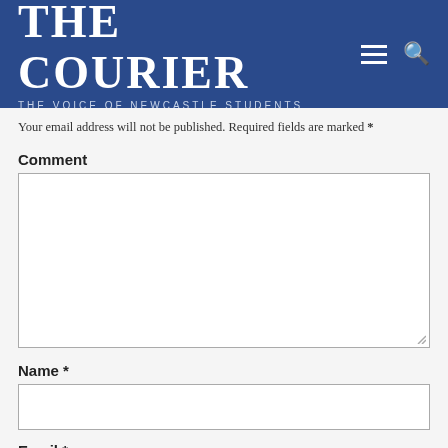THE COURIER — THE VOICE OF NEWCASTLE STUDENTS
Your email address will not be published. Required fields are marked *
Comment
Name *
Email *